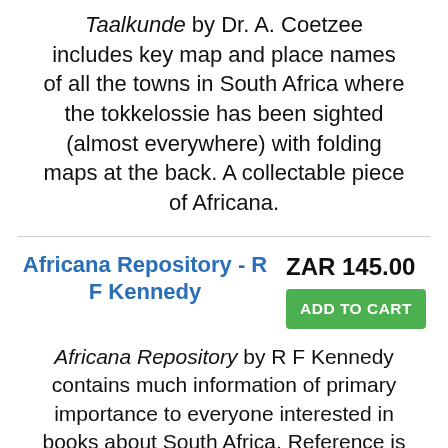Taalkunde by Dr. A. Coetzee includes key map and place names of all the towns in South Africa where the tokkelossie has been sighted (almost everywhere) with folding maps at the back. A collectable piece of Africana.
Africana Repository - R F Kennedy
ZAR 145.00
ADD TO CART
Africana Repository by R F Kennedy contains much information of primary importance to everyone interested in books about South Africa. Reference is made to Portuguese, Dutch